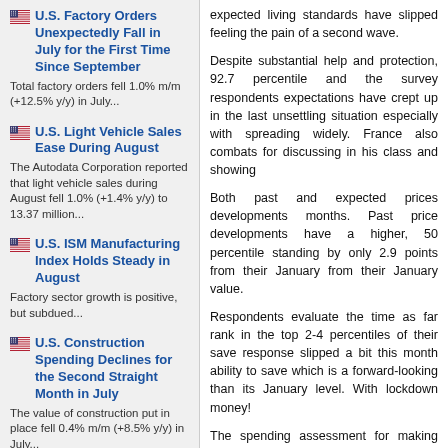U.S. Factory Orders Unexpectedly Fall in July for the First Time Since September
Total factory orders fell 1.0% m/m (+12.5% y/y) in July...
U.S. Light Vehicle Sales Ease During August
The Autodata Corporation reported that light vehicle sales during August fell 1.0% (+1.4% y/y) to 13.37 million...
U.S. ISM Manufacturing Index Holds Steady in August
Factory sector growth is positive, but subdued...
U.S. Construction Spending Declines for the Second Straight Month in July
The value of construction put in place fell 0.4% m/m (+8.5% y/y) in July...
expected living standards have slipped feeling the pain of a second wave.
Despite substantial help and protection, 92.7 percentile and the survey respondents expectations have crept up in the last unsettling situation especially with spreading widely. France also combats for discussing in his class and showing
Both past and expected prices developments months. Past price developments have a higher, 50 percentile standing by only 2.9 points from their January from their January value.
Respondents evaluate the time as far rank in the top 2-4 percentiles of their save response slipped a bit this month ability to save which is a forward-looking than its January level. With lockdown money!
The spending assessment for making has a well below median 38.3 percent January level
Assessments of the financial situation